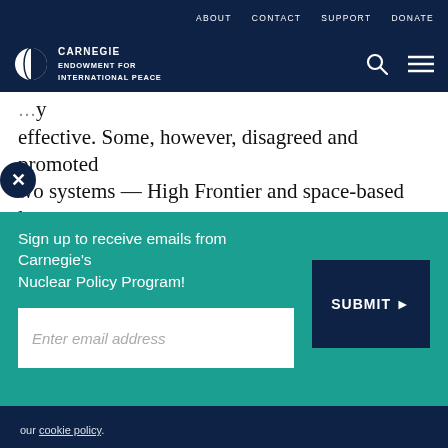ABOUT  CONTACT  SUPPORT  DONATE
[Figure (logo): Carnegie Endowment for International Peace logo with circular half-filled globe icon and white text]
effective. Some, however, disagreed and promoted two systems — High Frontier and space-based lasers
Sign up to receive emails from Carnegie's Nuclear Policy Program!
Enter email address
SUBMIT ▶
our cookie policy.
[Figure (infographic): Social share bar with print, link, Facebook, Twitter, WhatsApp, Messenger, and LinkedIn icons]